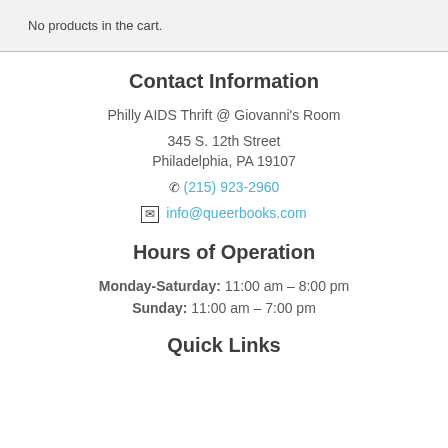No products in the cart.
Contact Information
Philly AIDS Thrift @ Giovanni's Room
345 S. 12th Street
Philadelphia, PA 19107
☎ (215) 923-2960
✉ info@queerbooks.com
Hours of Operation
Monday-Saturday: 11:00 am – 8:00 pm
Sunday: 11:00 am – 7:00 pm
Quick Links